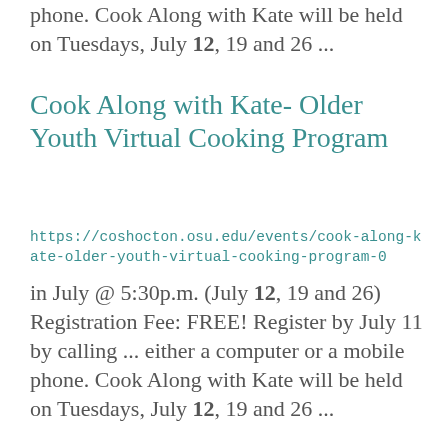phone.  Cook Along with Kate  will be held on Tuesdays, July 12, 19 and 26 ...
Cook Along with Kate- Older Youth Virtual Cooking Program
https://coshocton.osu.edu/events/cook-along-kate-older-youth-virtual-cooking-program-0
in July @ 5:30p.m. (July 12, 19 and 26) Registration Fee: FREE! Register by July 11 by calling ... either a computer or a mobile phone.  Cook Along with Kate  will be held on Tuesdays, July 12, 19 and 26 ...
Cook Along with Kate- Older Youth Virtual Cooking Program